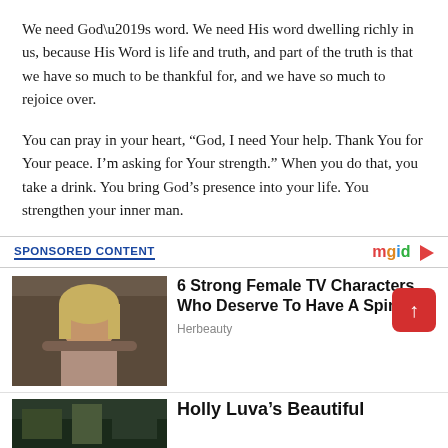We need God’s word. We need His word dwelling richly in us, because His Word is life and truth, and part of the truth is that we have so much to be thankful for, and we have so much to rejoice over.
You can pray in your heart, “God, I need Your help. Thank You for Your peace. I’m asking for Your strength.” When you do that, you take a drink. You bring God’s presence into your life. You strengthen your inner man.
SPONSORED CONTENT
6 Strong Female TV Characters Who Deserve To Have A Spinoff
Herbeauty
Holly Luva’s Beautiful